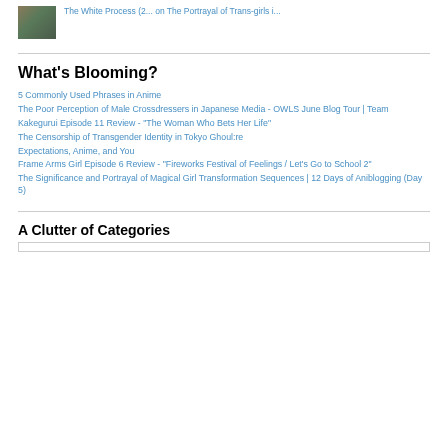[Figure (photo): Small thumbnail image of stacked books or wooden texture]
The White Process (2... on The Portrayal of Trans-girls i...
What's Blooming?
5 Commonly Used Phrases in Anime
The Poor Perception of Male Crossdressers in Japanese Media - OWLS June Blog Tour | Team
Kakegurui Episode 11 Review - "The Woman Who Bets Her Life"
The Censorship of Transgender Identity in Tokyo Ghoul:re
Expectations, Anime, and You
Frame Arms Girl Episode 6 Review - "Fireworks Festival of Feelings / Let's Go to School 2"
The Significance and Portrayal of Magical Girl Transformation Sequences | 12 Days of Aniblogging (Day 5)
A Clutter of Categories